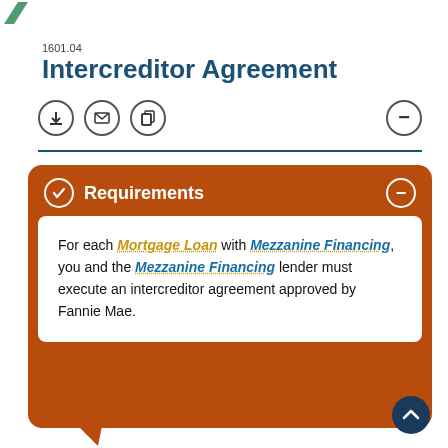1601.04
Intercreditor Agreement
Requirements
For each Mortgage Loan with Mezzanine Financing, you and the Mezzanine Financing lender must execute an intercreditor agreement approved by Fannie Mae.